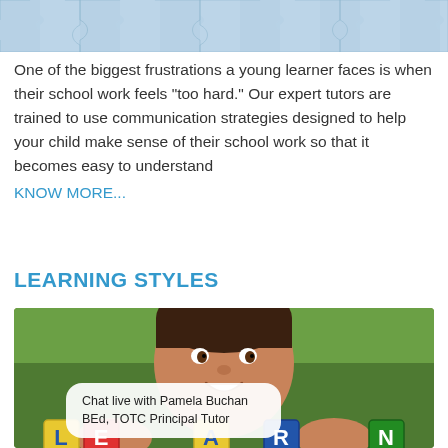[Figure (photo): Partial view of a blue puzzle piece background image cropped at the top of the page]
One of the biggest frustrations a young learner faces is when their school work feels "too hard." Our expert tutors are trained to use communication strategies designed to help your child make sense of their school work so that it becomes easy to understand
KNOW MORE...
LEARNING STYLES
[Figure (photo): A young smiling boy holding colorful letter blocks spelling LEARN. A chat bubble overlay reads: Chat live with Pamela Buchan BEd, TOTC Principal Tutor]